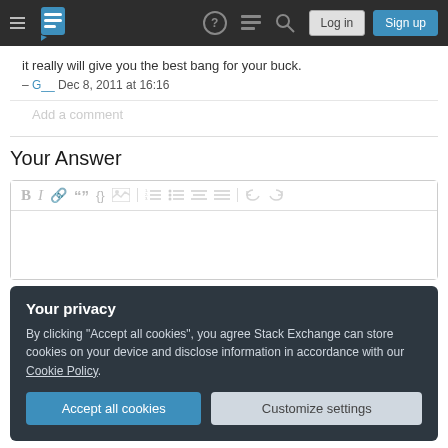Stack Exchange navigation bar with Log in and Sign up buttons
it really will give you the best bang for your buck.
– G__ Dec 8, 2011 at 16:16
Add a comment
Your Answer
[Figure (screenshot): Rich text editor toolbar with Bold, Italic, link, blockquote, code, image, ordered list, unordered list, alignment and undo/redo buttons, followed by an empty text area]
Your privacy
By clicking "Accept all cookies", you agree Stack Exchange can store cookies on your device and disclose information in accordance with our Cookie Policy.
Accept all cookies
Customize settings